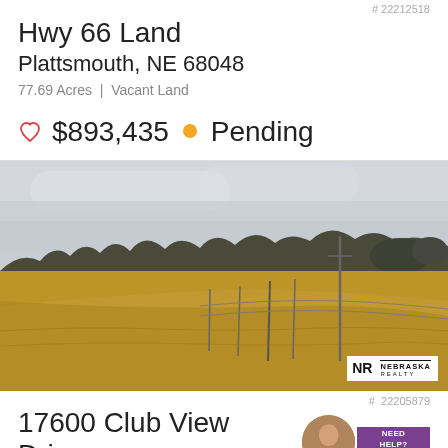# 22212518
Hwy 66 Land
Plattsmouth, NE 68048
77.69 Acres | Vacant Land
$893,435 • Pending
[Figure (photo): Landscape photo of vacant land with golden brown grass fields in the foreground, bare trees along the horizon, and an overcast grey sky. A utility pole is visible in the right portion of the image.]
# 22205879
17600 Club View Drive